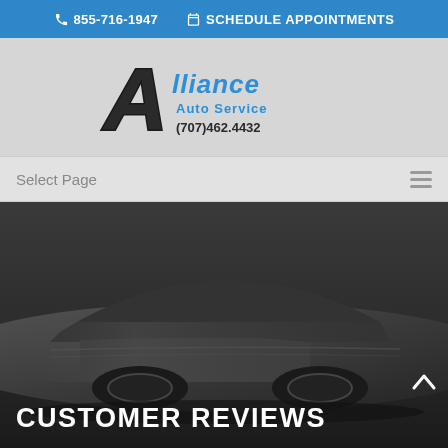855-716-1947  SCHEDULE APPOINTMENTS
[Figure (logo): Alliance Auto Service logo with stylized A and text 'Alliance Auto Service (707)462.4432']
Select Page
[Figure (photo): Dark grey/charcoal car low angle side profile hero banner image]
CUSTOMER REVIEWS